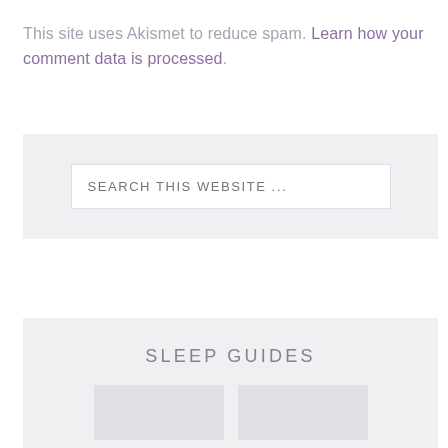This site uses Akismet to reduce spam. Learn how your comment data is processed.
SEARCH THIS WEBSITE ...
SLEEP GUIDES